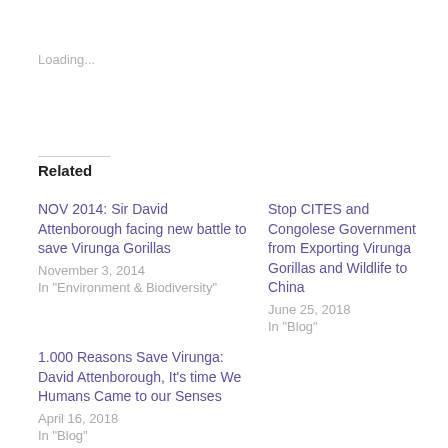Loading...
Related
NOV 2014: Sir David Attenborough facing new battle to save Virunga Gorillas
November 3, 2014
In "Environment & Biodiversity"
Stop CITES and Congolese Government from Exporting Virunga Gorillas and Wildlife to China
June 25, 2018
In "Blog"
1.000 Reasons Save Virunga: David Attenborough, It's time We Humans Came to our Senses
April 16, 2018
In "Blog"